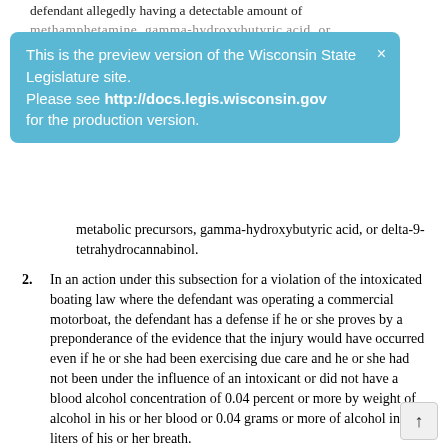defendant allegedly having a detectable amount of methamphetamine, gamma-hydroxybutyric acid, or
This is the preview version of the Wisconsin State Legislature site. Please see http://docs.legis.wisconsin.gov for the production version.
metabolic precursors, gamma-hydroxybutyric acid, or delta-9-tetrahydrocannabinol.
2. In an action under this subsection for a violation of the intoxicated boating law where the defendant was operating a commercial motorboat, the defendant has a defense if he or she proves by a preponderance of the evidence that the injury would have occurred even if he or she had been exercising due care and he or she had not been under the influence of an intoxicant or did not have a blood alcohol concentration of 0.04 percent or more by weight of alcohol in his or her blood or 0.04 grams or more of alcohol in 210 liters of his or her breath.
History: 1985 a. 331; 1989 a. 275; 1995 a. 290, 436; 1997 a. 35, 198; 2003 a. 30, 97, 326.
30.682   Preliminary breath screening test.
(1) Requirement. A person shall provide a sample of his or her breath for a preliminary breath screening test if a law enforcement officer has probable cause to believe that the